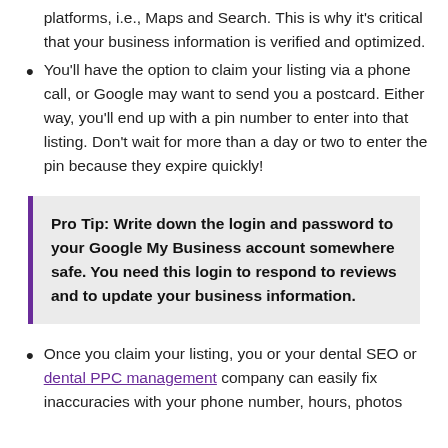platforms, i.e., Maps and Search. This is why it’s critical that your business information is verified and optimized.
You’ll have the option to claim your listing via a phone call, or Google may want to send you a postcard. Either way, you’ll end up with a pin number to enter into that listing. Don’t wait for more than a day or two to enter the pin because they expire quickly!
Pro Tip: Write down the login and password to your Google My Business account somewhere safe. You need this login to respond to reviews and to update your business information.
Once you claim your listing, you or your dental SEO or dental PPC management company can easily fix inaccuracies with your phone number, hours, photos